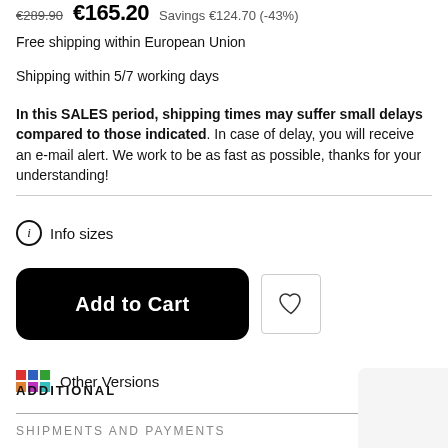€289.90  €165.20  Savings €124.70 (-43%)
Free shipping within European Union
Shipping within 5/7 working days
In this SALES period, shipping times may suffer small delays compared to those indicated. In case of delay, you will receive an e-mail alert. We work to be as fast as possible, thanks for your understanding!
ⓘ Info sizes
Add to Cart
Other Versions
ADDITIONAL
SHIPMENTS AND PAYMENTS